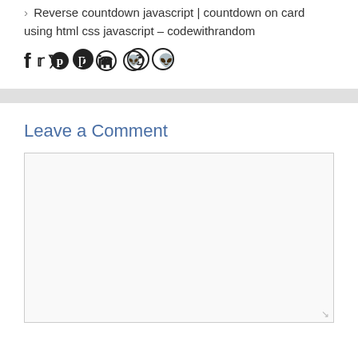› Reverse countdown javascript | countdown on card using html css javascript – codewithrandom
[Figure (other): Social share icons: Facebook, Twitter, Pinterest, LinkedIn, WhatsApp, Reddit]
Leave a Comment
[Figure (other): Empty comment textarea input box with resize handle]